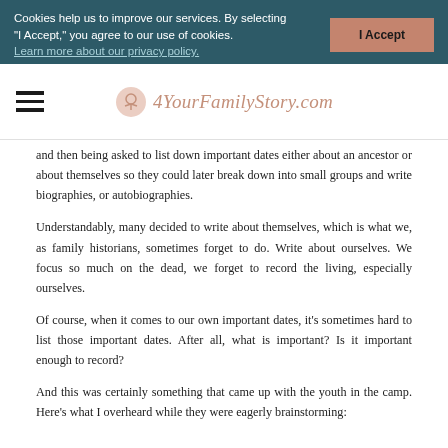Cookies help us to improve our services. By selecting "I Accept," you agree to our use of cookies. Learn more about our privacy policy.
[Figure (logo): 4YourFamilyStory.com website logo with circular icon and italic script text in rose/salmon color]
and then being asked to list down important dates either about an ancestor or about themselves so they could later break down into small groups and write biographies, or autobiographies.
Understandably, many decided to write about themselves, which is what we, as family historians, sometimes forget to do. Write about ourselves. We focus so much on the dead, we forget to record the living, especially ourselves.
Of course, when it comes to our own important dates, it's sometimes hard to list those important dates. After all, what is important? Is it important enough to record?
And this was certainly something that came up with the youth in the camp. Here's what I overheard while they were eagerly brainstorming: